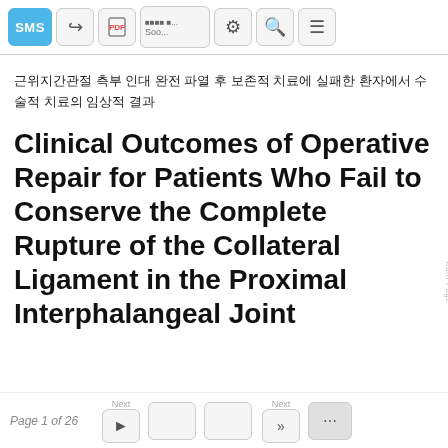SMS | Share | PDF | [text field: Soo...] | Settings | Search | Menu
근위지간관절 측부 인대 완전 파열 후 보존적 치료에 실패한 환자에서 수술적 치료의 임상적 결과
Clinical Outcomes of Operative Repair for Patients Who Fail to Conserve the Complete Rupture of the Collateral Ligament in the Proximal Interphalangeal Joint
Page 1 of 26